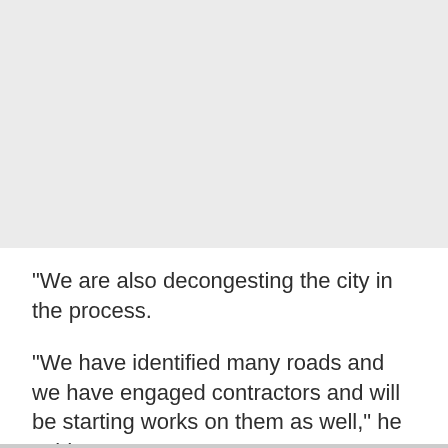[Figure (photo): A large light grey rectangular image placeholder occupying the top portion of the page.]
“We are also decongesting the city in the process.
“We have identified many roads and we have engaged contractors and will be starting works on them as well,” he said.